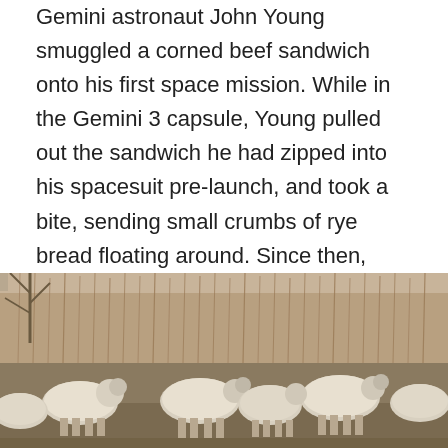Gemini astronaut John Young smuggled a corned beef sandwich onto his first space mission. While in the Gemini 3 capsule, Young pulled out the sandwich he had zipped into his spacesuit pre-launch, and took a bite, sending small crumbs of rye bread floating around. Since then, sandwiches aren't allowed in space. The particles could float into equipment, causing serious problems or malfunctions.
[Figure (photo): A flock of sheep with white woolly coats grazing or walking in a field with dry tall grass and bare winter trees in the background.]